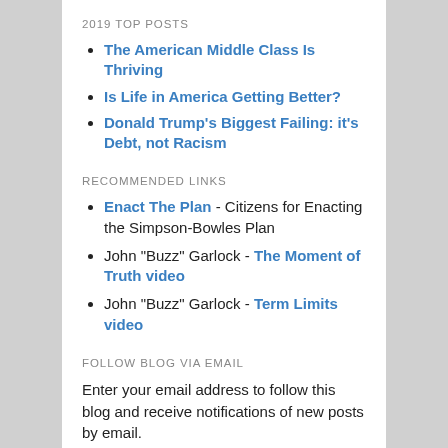2019 TOP POSTS
The American Middle Class Is Thriving
Is Life in America Getting Better?
Donald Trump's Biggest Failing: it's Debt, not Racism
RECOMMENDED LINKS
Enact The Plan - Citizens for Enacting the Simpson-Bowles Plan
John "Buzz" Garlock - The Moment of Truth video
John "Buzz" Garlock - Term Limits video
FOLLOW BLOG VIA EMAIL
Enter your email address to follow this blog and receive notifications of new posts by email.
Enter your email address
Follow